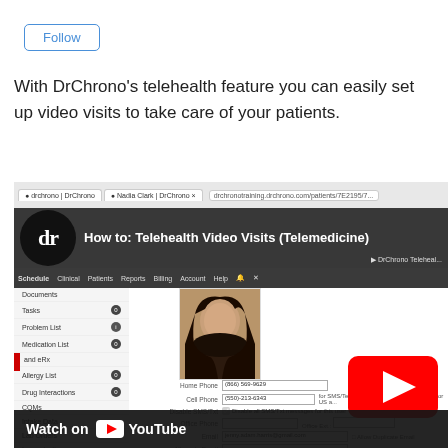[Figure (screenshot): Follow button with blue border]
With DrChrono's telehealth feature you can easily set up video visits to take care of your patients.
[Figure (screenshot): YouTube video thumbnail showing DrChrono telehealth video visit tutorial with patient profile screen, DrChrono logo, and YouTube play button overlay with 'Watch on YouTube' bar at bottom]